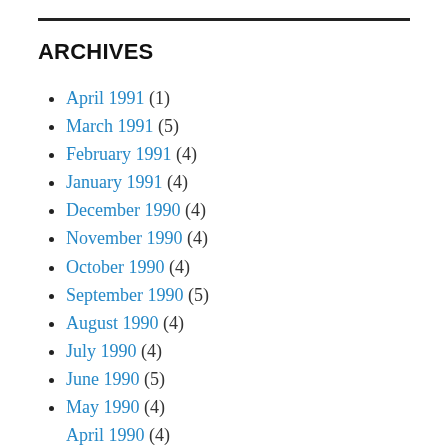ARCHIVES
April 1991 (1)
March 1991 (5)
February 1991 (4)
January 1991 (4)
December 1990 (4)
November 1990 (4)
October 1990 (4)
September 1990 (5)
August 1990 (4)
July 1990 (4)
June 1990 (5)
May 1990 (4)
April 1990 (4)